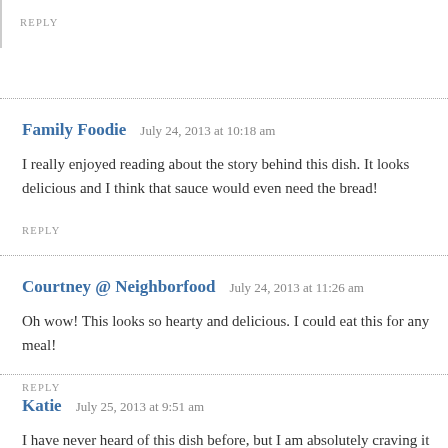REPLY
Family Foodie   July 24, 2013 at 10:18 am
I really enjoyed reading about the story behind this dish. It looks delicious and I think that sauce would even need the bread!
REPLY
Courtney @ Neighborfood   July 24, 2013 at 11:26 am
Oh wow! This looks so hearty and delicious. I could eat this for any meal!
REPLY
Katie   July 25, 2013 at 9:51 am
I have never heard of this dish before, but I am absolutely craving it now!